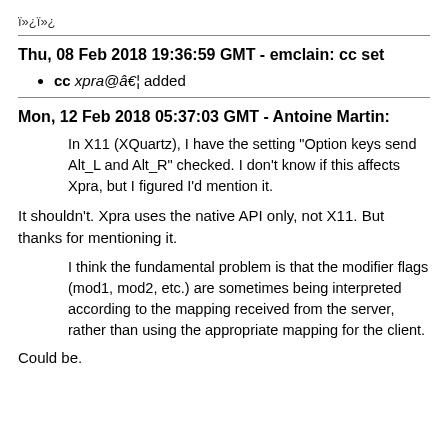ï»¿ï»¿
Thu, 08 Feb 2018 19:36:59 GMT - emclain: cc set
cc xpra@â€¦ added
Mon, 12 Feb 2018 05:37:03 GMT - Antoine Martin:
In X11 (XQuartz), I have the setting "Option keys send Alt_L and Alt_R" checked. I don't know if this affects Xpra, but I figured I'd mention it.
It shouldn't. Xpra uses the native API only, not X11. But thanks for mentioning it.
I think the fundamental problem is that the modifier flags (mod1, mod2, etc.) are sometimes being interpreted according to the mapping received from the server, rather than using the appropriate mapping for the client.
Could be.